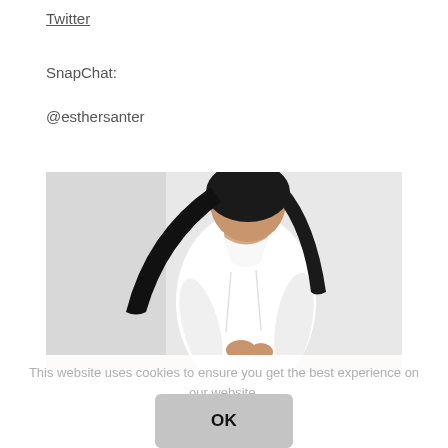Twitter
SnapChat:
@esthersanter
[Figure (photo): A woman with long dark hair wearing a white shirt, seated, photographed from above against a light background with a wooden surface visible at the bottom.]
This website uses cookies to ensure you get the best experience on our website.
Privacy Policy
OK